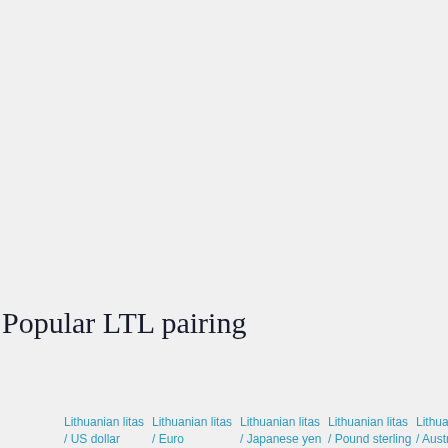Popular LTL pairing
Lithuanian litas / US dollar
Lithuanian litas / Euro
Lithuanian litas / Japanese yen
Lithuanian litas / Pound sterling
Lithuanian litas / Australian